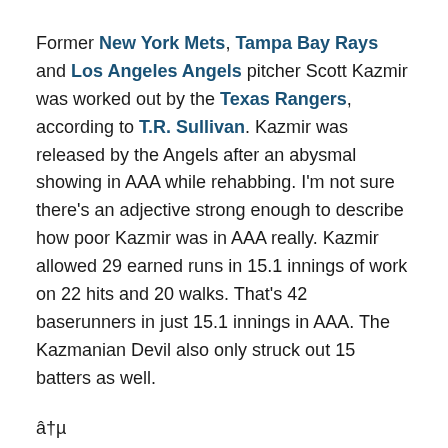Former New York Mets, Tampa Bay Rays and Los Angeles Angels pitcher Scott Kazmir was worked out by the Texas Rangers, according to T.R. Sullivan. Kazmir was released by the Angels after an abysmal showing in AAA while rehabbing. I'm not sure there's an adjective strong enough to describe how poor Kazmir was in AAA really. Kazmir allowed 29 earned runs in 15.1 innings of work on 22 hits and 20 walks. That's 42 baserunners in just 15.1 innings in AAA. The Kazmanian Devil also only struck out 15 batters as well.
â†µ